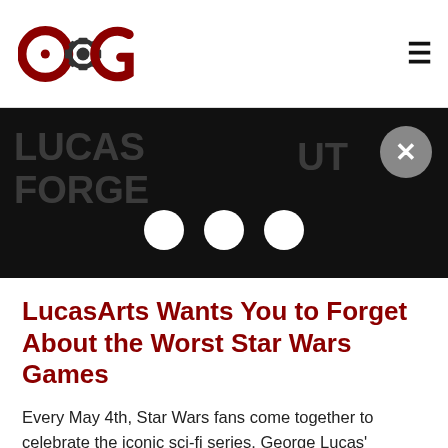COG logo and hamburger menu
[Figure (screenshot): Black advertisement banner with partially visible text 'LUCAS' and 'FORGE' on the left, 'UT' on the right, three white dots at the bottom center, and a grey close (X) button in the top right]
LucasArts Wants You to Forget About the Worst Star Wars Games
Every May 4th, Star Wars fans come together to celebrate the iconic sci-fi series. George Lucas' beloved films have become one of the most successful franchises in the world, and have made waves in other